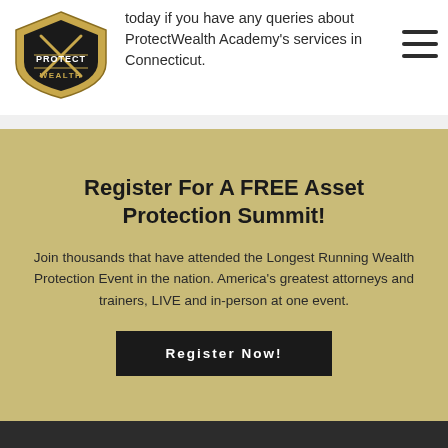contact us today if you have any queries about ProtectWealth Academy's services in Connecticut.
[Figure (logo): Protect Wealth shield logo with crossed swords in dark gold and black]
Register For A FREE Asset Protection Summit!
Join thousands that have attended the Longest Running Wealth Protection Event in the nation. America's greatest attorneys and trainers, LIVE and in-person at one event.
Register Now!
[Figure (logo): Protect Wealth footer logo in gold and dark background]